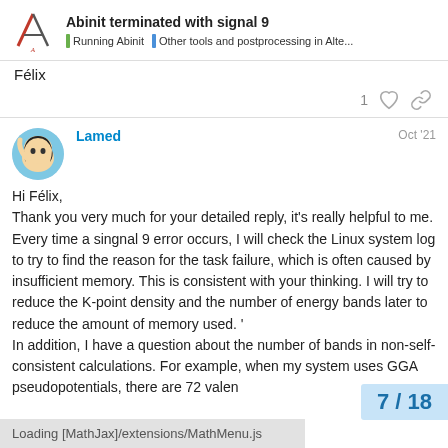Abinit terminated with signal 9 | Running Abinit | Other tools and postprocessing in Alte...
Félix
1 ♡ 🔗
Lamed  Oct '21
Hi Félix, Thank you very much for your detailed reply, it's really helpful to me. Every time a singnal 9 error occurs, I will check the Linux system log to try to find the reason for the task failure, which is often caused by insufficient memory. This is consistent with your thinking. I will try to reduce the K-point density and the number of energy bands later to reduce the amount of memory used. ' In addition, I have a question about the number of bands in non-self-consistent calculations. For example, when my system uses GGA pseudopotentials, there are 72 valen
7 / 18
Loading [MathJax]/extensions/MathMenu.js